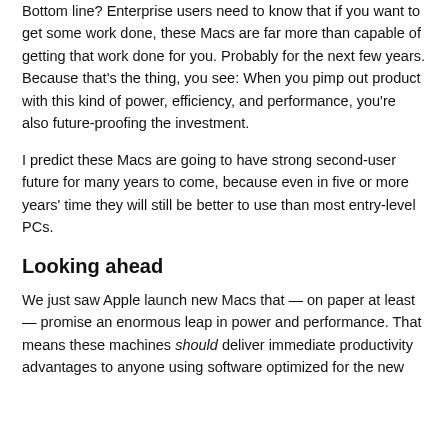Bottom line? Enterprise users need to know that if you want to get some work done, these Macs are far more than capable of getting that work done for you. Probably for the next few years. Because that's the thing, you see: When you pimp out product with this kind of power, efficiency, and performance, you're also future-proofing the investment.
I predict these Macs are going to have strong second-user future for many years to come, because even in five or more years' time they will still be better to use than most entry-level PCs.
Looking ahead
We just saw Apple launch new Macs that — on paper at least — promise an enormous leap in power and performance. That means these machines should deliver immediate productivity advantages to anyone using software optimized for the new